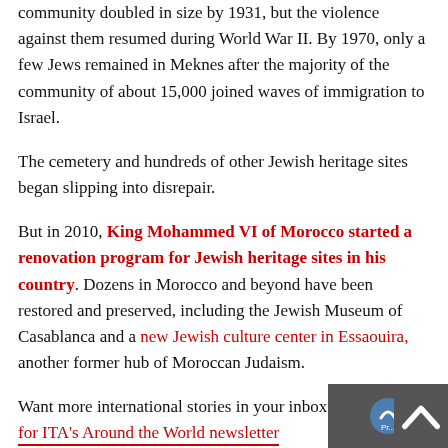community doubled in size by 1931, but the violence against them resumed during World War II. By 1970, only a few Jews remained in Meknes after the majority of the community of about 15,000 joined waves of immigration to Israel.
The cemetery and hundreds of other Jewish heritage sites began slipping into disrepair.
But in 2010, King Mohammed VI of Morocco started a renovation program for Jewish heritage sites in his country. Dozens in Morocco and beyond have been restored and preserved, including the Jewish Museum of Casablanca and a new Jewish culture center in Essaouira, another former hub of Moroccan Judaism.
Want more international stories in your inbox? Sig for ITA's Around the World newsletter